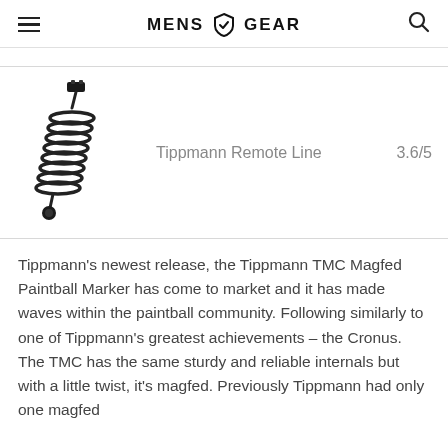MENS GEAR
[Figure (photo): Tippmann Remote Line coiled cable accessory for paintball marker, black coiled hose with fittings at each end]
Tippmann Remote Line   3.6/5
Tippmann's newest release, the Tippmann TMC Magfed Paintball Marker has come to market and it has made waves within the paintball community. Following similarly to one of Tippmann's greatest achievements – the Cronus. The TMC has the same sturdy and reliable internals but with a little twist, it's magfed. Previously Tippmann had only one magfed